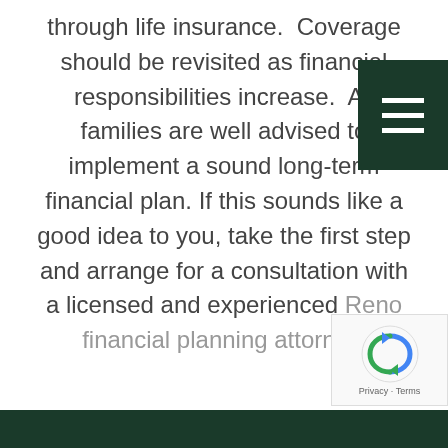through life insurance.  Coverage should be revisited as financial responsibilities increase.  All families are well advised to implement a sound long-term financial plan.  If this sounds like a good idea to you, take the first step and arrange for a consultation with a licensed and experienced Reno financial planning attorney.
[Figure (other): Dark green hamburger menu button with three horizontal white lines]
[Figure (other): reCAPTCHA widget with Google logo, Privacy and Terms links]